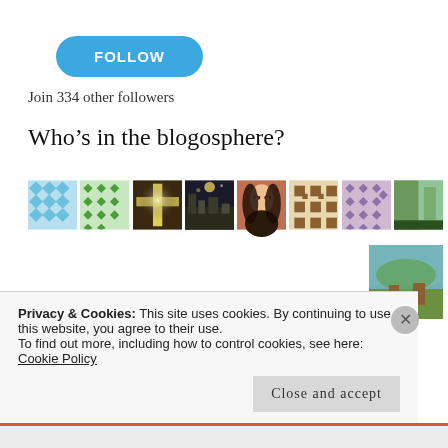[Figure (other): Blue FOLLOW button with rounded corners]
Join 334 other followers
Who’s in the blogosphere?
[Figure (photo): Grid of blogger avatar thumbnails: blue geometric quilt pattern, green diamond pattern, cross/light photo, night cityscape, woman portrait, brown geometric pattern, purple quilt pattern, colorful building interior, countryside scene, yellow/black abstract photo]
Privacy & Cookies: This site uses cookies. By continuing to use this website, you agree to their use.
To find out more, including how to control cookies, see here: Cookie Policy